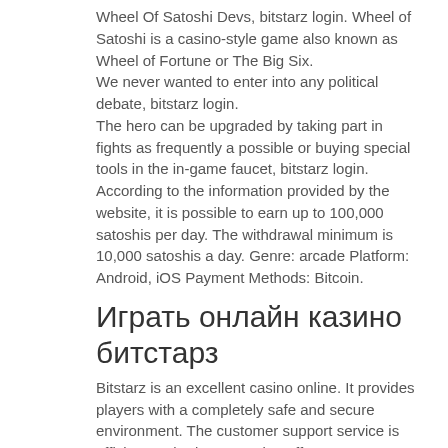Wheel Of Satoshi Devs, bitstarz login. Wheel of Satoshi is a casino-style game also known as Wheel of Fortune or The Big Six.
We never wanted to enter into any political debate, bitstarz login.
The hero can be upgraded by taking part in fights as frequently a possible or buying special tools in the in-game faucet, bitstarz login. According to the information provided by the website, it is possible to earn up to 100,000 satoshis per day. The withdrawal minimum is 10,000 satoshis a day. Genre: arcade Platform: Android, iOS Payment Methods: Bitcoin.
Играть онлайн казино битстарз
Bitstarz is an excellent casino online. It provides players with a completely safe and secure environment. The customer support service is efficient and. Bitstarz casino offers